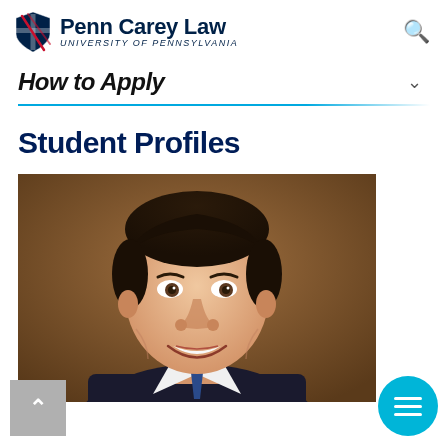Penn Carey Law University of Pennsylvania
How to Apply
Student Profiles
[Figure (photo): Headshot portrait of a smiling young man with dark hair, wearing a suit, against a warm brown background.]